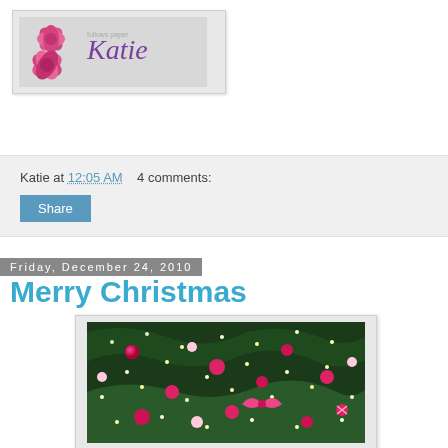[Figure (logo): Blog logo with pink flower and cursive 'Katie' text on grey background]
Katie at 12:05 AM   4 comments:
Share
Friday, December 24, 2010
Merry Christmas
[Figure (photo): Christmas tree decorated with pink and red ornaments, ribbons, and lights]